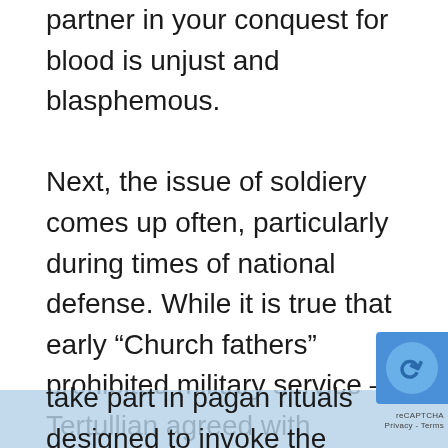partner in your conquest for blood is unjust and blasphemous.

Next, the issue of soldiery comes up often, particularly during times of national defense. While it is true that early “Church fathers” prohibited military service – Tertullian agreed with Lactantius who wrote, “A just man may not be a soldier” – it must not be forgotten what social constructs went alongside such a decree. Alongside the act of killing (which they also found inconsistent with Jesus’ teachings), there was the secondary aspect of idolatry that went alongside being a soldier. Often, before embarking on campaigns, the soldiers woul… take part in pagan rituals designed to invoke the… gods’ favor; it should go without saying that…